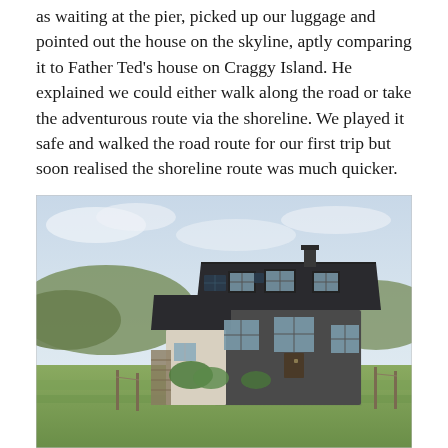as waiting at the pier, picked up our luggage and pointed out the house on the skyline, aptly comparing it to Father Ted's house on Craggy Island. He explained we could either walk along the road or take the adventurous route via the shoreline. We played it safe and walked the road route for our first trip but soon realised the shoreline route was much quicker.
[Figure (photo): A stone farmhouse with a dark slate roof, dormer windows, and solar panels, set in a green open landscape with hills in the background under a pale sky.]